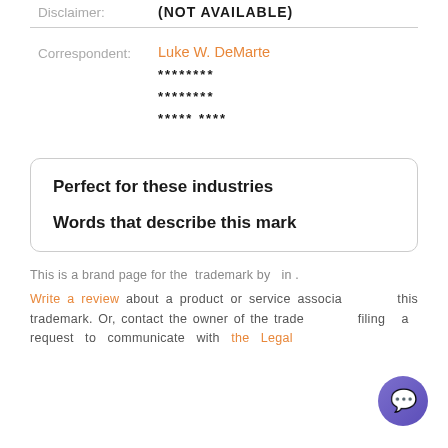Disclaimer: (NOT AVAILABLE)
Correspondent: Luke W. DeMarte
******** 
******** 
***** ****
Perfect for these industries
Words that describe this mark
This is a brand page for the trademark by in.
Write a review about a product or service associated with this trademark. Or, contact the owner of the trademark by filing a request to communicate with the Legal